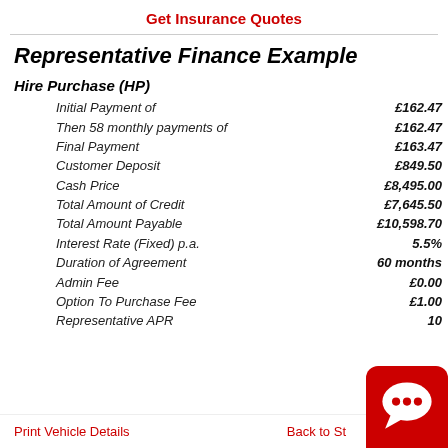Get Insurance Quotes
Representative Finance Example
Hire Purchase (HP)
|  |  |
| --- | --- |
| Initial Payment of | £162.47 |
| Then 58 monthly payments of | £162.47 |
| Final Payment | £163.47 |
| Customer Deposit | £849.50 |
| Cash Price | £8,495.00 |
| Total Amount of Credit | £7,645.50 |
| Total Amount Payable | £10,598.70 |
| Interest Rate (Fixed) p.a. | 5.5% |
| Duration of Agreement | 60 months |
| Admin Fee | £0.00 |
| Option To Purchase Fee | £1.00 |
| Representative APR | 10... |
Print Vehicle Details   Back to St...